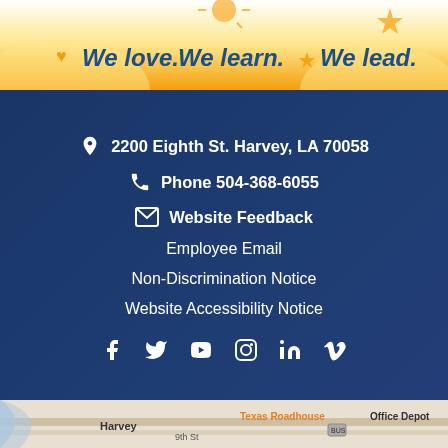[Figure (illustration): School banner with 'We love. We learn. We lead.' motto on a yellow/white gradient background with decorative silhouettes]
2200 Eighth St. Harvey, LA 70058
Phone 504-368-6055
Website Feedback
Employee Email
Non-Discrimination Notice
Website Accessibility Notice
[Figure (illustration): Social media icons: Facebook, Twitter, YouTube, Instagram, LinkedIn, Vimeo]
[Figure (map): Google Maps screenshot showing Harvey, LA area with Texas Roadhouse, Office Depot visible]